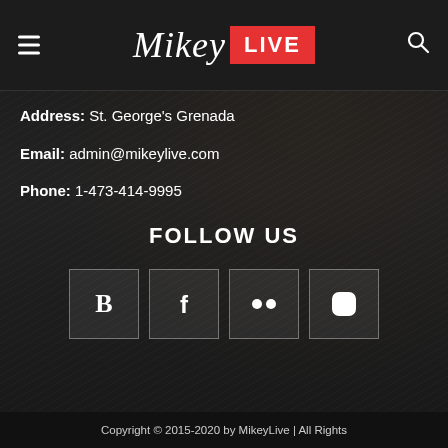Mikey LIVE
Address: St. George's Grenada
Email: admin@mikeylive.com
Phone: 1-473-414-9995
FOLLOW US
[Figure (infographic): Four social media icon buttons in bordered boxes: Blogger (B), Facebook (f), Flickr (two dots), Instagram (camera icon)]
Copyright © 2015-2020 by MikeyLive | All Rights